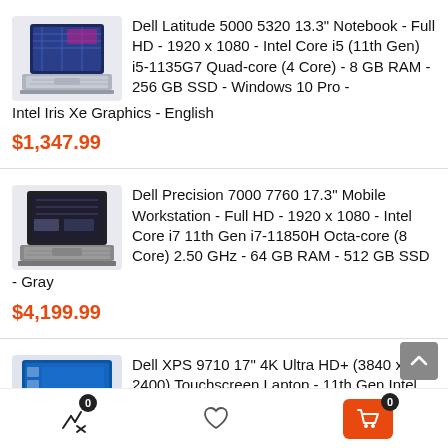Dell Latitude 5000 5320 13.3" Notebook - Full HD - 1920 x 1080 - Intel Core i5 (11th Gen) i5-1135G7 Quad-core (4 Core) - 8 GB RAM - 256 GB SSD - Windows 10 Pro - Intel Iris Xe Graphics - English
$1,347.99
Dell Precision 7000 7760 17.3" Mobile Workstation - Full HD - 1920 x 1080 - Intel Core i7 11th Gen i7-11850H Octa-core (8 Core) 2.50 GHz - 64 GB RAM - 512 GB SSD - Gray
$4,199.99
Dell XPS 9710 17" 4K Ultra HD+ (3840 x 2400) Touchscreen Laptop - 11th Gen Intel Core i7-11800H up to 4.60 GHz CPU, 64GB DDR4 RAM, 2TB PCIe SSD, GeForce...